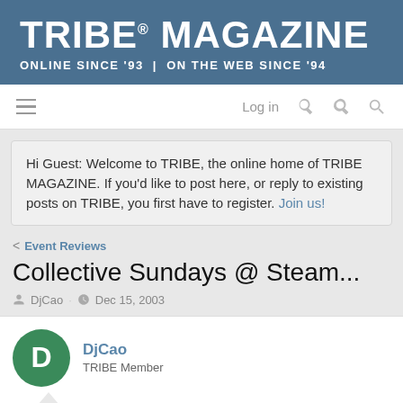TRIBE® MAGAZINE ONLINE SINCE '93 | ON THE WEB SINCE '94
Hi Guest: Welcome to TRIBE, the online home of TRIBE MAGAZINE. If you'd like to post here, or reply to existing posts on TRIBE, you first have to register. Join us!
Event Reviews
Collective Sundays @ Steam...
DjCao · Dec 15, 2003
DjCao
TRIBE Member
Dec 15, 2003  #1